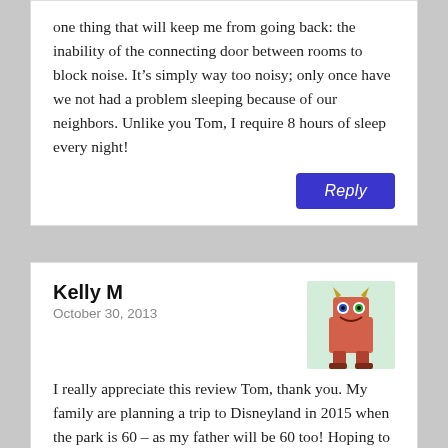one thing that will keep me from going back: the inability of the connecting door between rooms to block noise. It's simply way too noisy; only once have we not had a problem sleeping because of our neighbors. Unlike you Tom, I require 8 hours of sleep every night!
Reply
Kelly M
October 30, 2013
I really appreciate this review Tom, thank you. My family are planning a trip to Disneyland in 2015 when the park is 60 – as my father will be 60 too! Hoping to spend at least one night in the Disneyland Hotel while we're there.
Reply